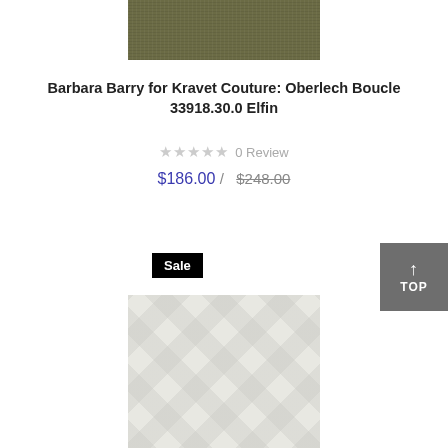[Figure (photo): Close-up of an olive/army green textured boucle fabric swatch at top of page]
Barbara Barry for Kravet Couture: Oberlech Boucle 33918.30.0 Elfin
★★★★★ 0 Review
$186.00 / $248.00
Sale
[Figure (photo): Close-up of a light cream/white textured fabric swatch with subtle diamond/trellis pattern]